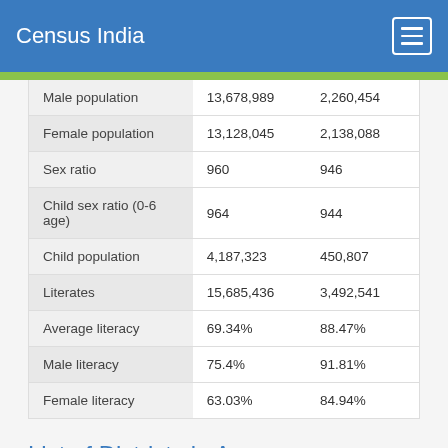Census India
| Male population | 13,678,989 | 2,260,454 |
| Female population | 13,128,045 | 2,138,088 |
| Sex ratio | 960 | 946 |
| Child sex ratio (0-6 age) | 964 | 944 |
| Child population | 4,187,323 | 450,807 |
| Literates | 15,685,436 | 3,492,541 |
| Average literacy | 69.34% | 88.47% |
| Male literacy | 75.4% | 91.81% |
| Female literacy | 63.03% | 84.94% |
List of Districts in Assam